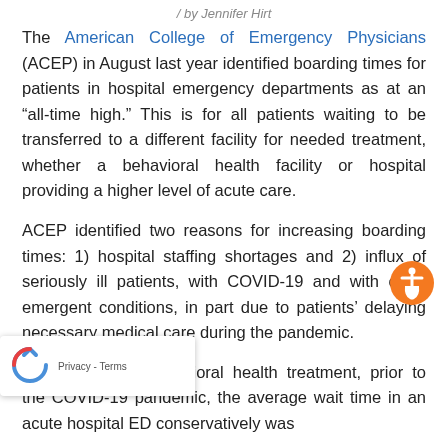/ by Jennifer Hirt
The American College of Emergency Physicians (ACEP) in August last year identified boarding times for patients in hospital emergency departments as at an “all-time high.” This is for all patients waiting to be transferred to a different facility for needed treatment, whether a behavioral health facility or hospital providing a higher level of acute care.
ACEP identified two reasons for increasing boarding times: 1) hospital staffing shortages and 2) influx of seriously ill patients, with COVID-19 and with other emergent conditions, in part due to patients’ delaying necessary medical care during the pandemic.
atients needing behavioral health treatment, prior to the COVID-19 pandemic, the average wait time in an acute hospital ED conservatively was